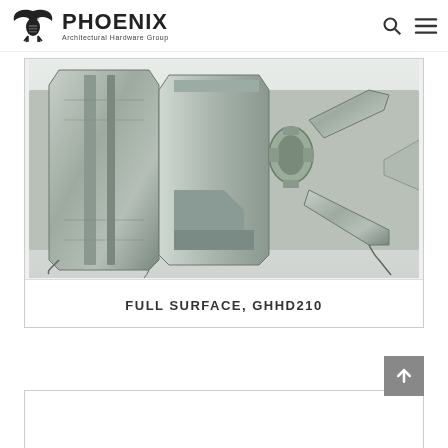PHOENIX Architectural Hardware Group
[Figure (photo): Close-up photo of a heavy-duty full surface continuous hinge made of galvanized/zinc metal, showing the cross-section profile with interlocking leaves and gear mechanism — model GHHD210]
FULL SURFACE, GHHD210
[Figure (photo): Partial view of another product card at the bottom of the page, content mostly cut off]